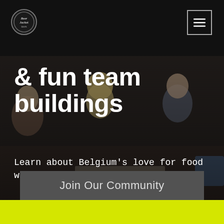[Figure (logo): Beer Jacket circular logo on black navigation bar]
[Figure (other): Hamburger menu icon button with three horizontal lines, bordered rectangle, on black nav bar]
[Figure (photo): Group of people sitting around a table looking at papers, team building activity, dark overlay]
& fun team buildings
Learn about Belgium's love for food whilst enjoying a beer tasting!
Join Our Community